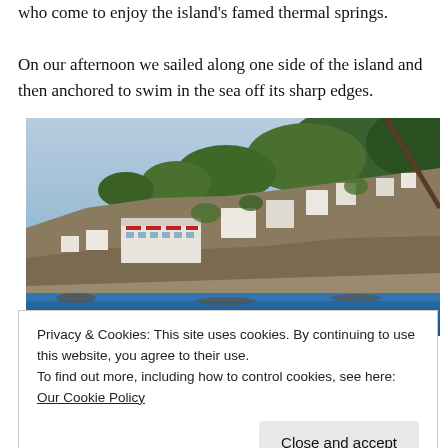who come to enjoy the island's famed thermal springs.
On our afternoon we sailed along one side of the island and then anchored to swim in the sea off its sharp edges.
[Figure (photo): Photograph taken from a boat showing the steep cliffside town of Ischia, with white buildings and hotels nestled among green vegetation on rocky cliffs above the deep blue sea. A diagonal boat mast or rope is visible in the upper right corner.]
Privacy & Cookies: This site uses cookies. By continuing to use this website, you agree to their use.
To find out more, including how to control cookies, see here: Our Cookie Policy
Sailing past the steep sides of Ischia